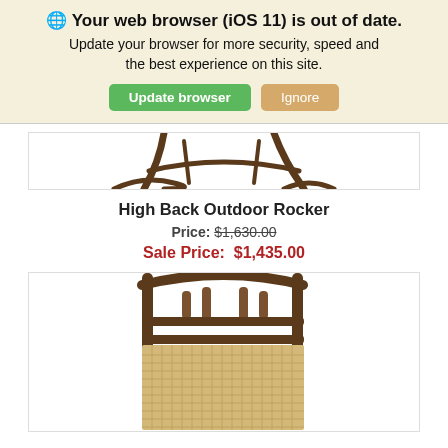🌐 Your web browser (iOS 11) is out of date. Update your browser for more security, speed and the best experience on this site.
Update browser | Ignore
[Figure (photo): Partial bottom view of a high back outdoor rocking chair showing the rocker legs/base in dark wood]
High Back Outdoor Rocker
Price: $1,630.00
Sale Price: $1,435.00
[Figure (photo): Top portion of a high back outdoor rocking chair with cane/wicker seat and dark wood frame]